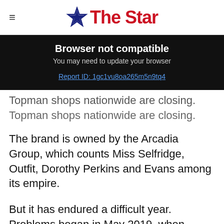The Star
Browser not compatible
You may need to update your browser
Report ID: 1gc1vu8oa265m5n9tq4
Topman shops nationwide are closing.
The brand is owned by the Arcadia Group, which counts Miss Selfridge, Outfit, Dorothy Perkins and Evans among its empire.
But it has endured a difficult year. Problems began in May 2019, when owner Sir Philip Green announced plans to close 23 stores in the UK